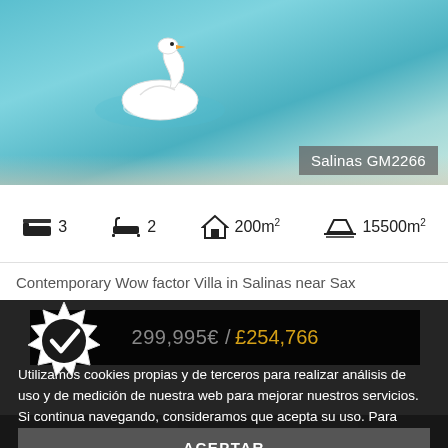[Figure (photo): Swimming pool with a white swan float, teal water and beige tiling, with label 'Salinas GM2266' overlay]
3  2  200m²  15500m²
Contemporary Wow factor Villa in Salinas near Sax
[Figure (infographic): Verified/checkmark badge icon overlapping dark overlay]
299,995€ / £254,766
Utilizamos cookies propias y de terceros para realizar análisis de uso y de medición de nuestra web para mejorar nuestros servicios. Si continua navegando, consideramos que acepta su uso. Para obtener más información aquí.
ACEPTAR
[Figure (photo): Dark bottom strip showing interior thumbnails]